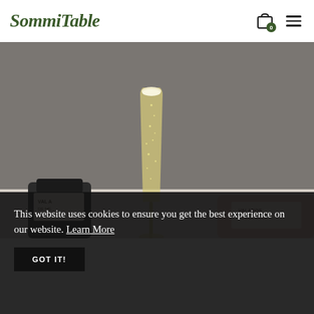SommiTable
[Figure (photo): A champagne flute filled with sparkling golden wine/vinho verde, with rising bubbles, placed in front of two bottles labeled 'VALADOS DE MELGACO' on a light surface with a gray background.]
This website uses cookies to ensure you get the best experience on our website. Learn More
GOT IT!